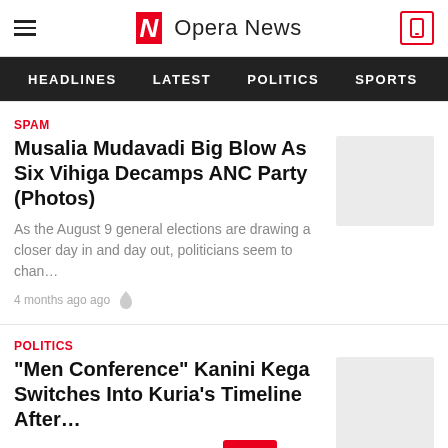Opera News
HEADLINES  LATEST  POLITICS  SPORTS  EN
SPAM
Musalia Mudavadi Big Blow As Six Vihiga Decamps ANC Party (Photos)
As the August 9 general elections are drawing a closer day in and day out, politicians seem to chan…
4 months ago ago
POLITICS
"Men Conference" Kanini Kega Switches Into Kuria's Timeline After…
Today , the Kenya Kwanza team  their